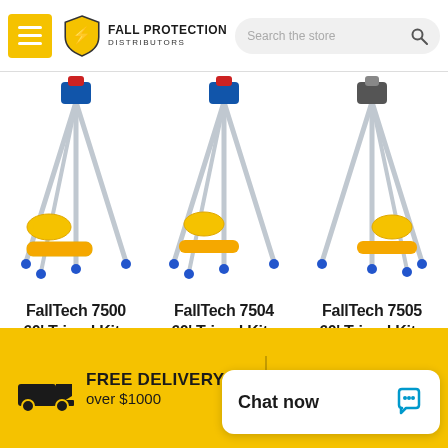Fall Protection Distributors — navigation header with logo and search bar
[Figure (photo): FallTech 7500 60' Tripod Kit product photo showing aluminium tripod with yellow duffel bag and roll bag]
FallTech 7500 60' Tripod Kit -
[Figure (photo): FallTech 7504 60' Tripod Kit product photo showing aluminium tripod with yellow duffel bag and roll bag]
FallTech 7504 60' Tripod Kit -
[Figure (photo): FallTech 7505 60' Tripod Kit product photo showing aluminium tripod with yellow duffel bag and roll bag]
FallTech 7505 60' Tripod Kit -
FREE DELIVERY over $1000 | CONTACT U...
Chat now